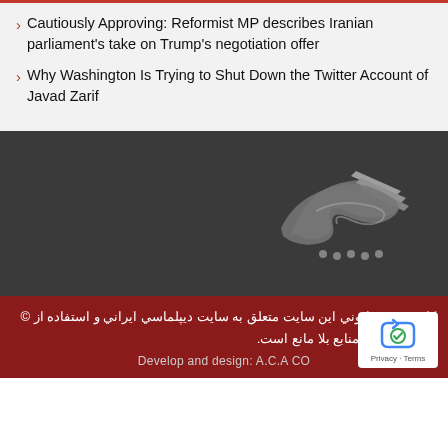> Cautiously Approving: Reformist MP describes Iranian parliament's take on Trump's negotiation offer
> Why Washington Is Trying to Shut Down the Twitter Account of Javad Zarif
[Figure (logo): Persian/Farsi calligraphic logo on dark grey background, stylized text with dots below]
كليه حقوق قانوني اين سايت متعلق به سايت ديپلماسي ايراني و استفاده از © مطالب با ذكر منابع بلا مانع است. Develop and design: A.C.A CO